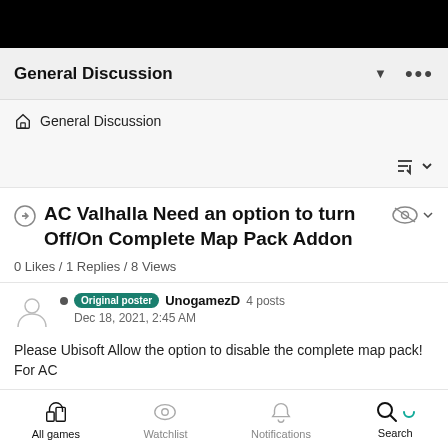General Discussion
General Discussion
AC Valhalla Need an option to turn Off/On Complete Map Pack Addon
0 Likes / 1 Replies / 8 Views
Original poster UnogamezD 4 posts
Dec 18, 2021, 2:45 AM
Please Ubisoft Allow the option to disable the complete map pack! For AC
All games  Watchlist  Notifications  Search